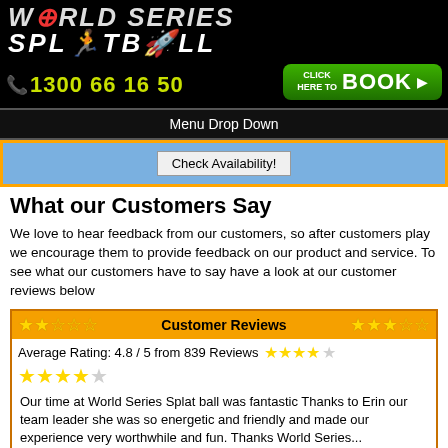World Series Splatball - 1300 66 16 50 - Click Here to Book
Menu Drop Down
Check Availability!
What our Customers Say
We love to hear feedback from our customers, so after customers play we encourage them to provide feedback on our product and service. To see what our customers have to say have a look at our customer reviews below
Customer Reviews
Average Rating: 4.8 / 5 from 839 Reviews ★★★★★
Our time at World Series Splat ball was fantastic Thanks to Erin our team leader she was so energetic and friendly and made our experience very worthwhile and fun. Thanks World Series...
5 /5 by Brett reviewed on 2020-02-18